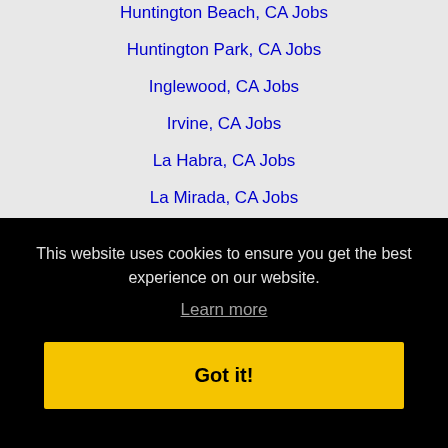Huntington Beach, CA Jobs
Huntington Park, CA Jobs
Inglewood, CA Jobs
Irvine, CA Jobs
La Habra, CA Jobs
La Mirada, CA Jobs
La Puente, CA Jobs
Laguna Beach, CA Jobs
Laguna Niguel, CA Jobs
Lake Elsinore, CA Jobs
This website uses cookies to ensure you get the best experience on our website.
Learn more
Got it!